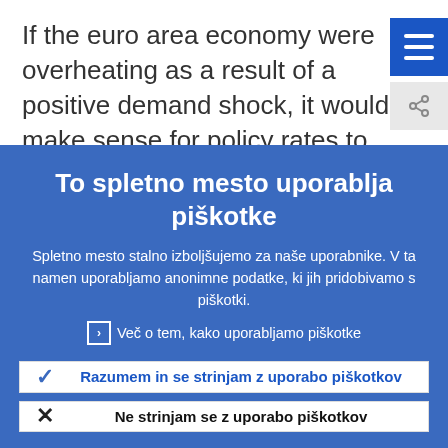If the euro area economy were overheating as a result of a positive demand shock, it would make sense for policy rates to be
To spletno mesto uporablja piškotke
Spletno mesto stalno izboljšujemo za naše uporabnike. V ta namen uporabljamo anonimne podatke, ki jih pridobivamo s piškotki.
Več o tem, kako uporabljamo piškotke
Razumem in se strinjam z uporabo piškotkov
Ne strinjam se z uporabo piškotkov